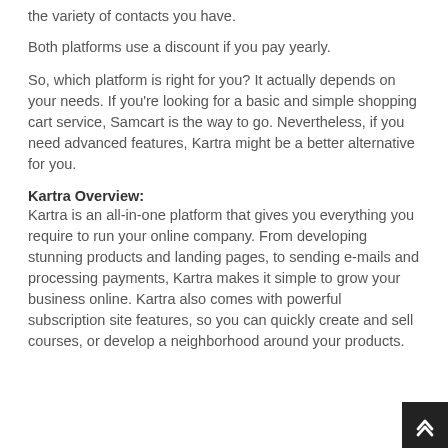the variety of contacts you have.
Both platforms use a discount if you pay yearly.
So, which platform is right for you? It actually depends on your needs. If you're looking for a basic and simple shopping cart service, Samcart is the way to go. Nevertheless, if you need advanced features, Kartra might be a better alternative for you.
Kartra Overview:
Kartra is an all-in-one platform that gives you everything you require to run your online company. From developing stunning products and landing pages, to sending e-mails and processing payments, Kartra makes it simple to grow your business online. Kartra also comes with powerful subscription site features, so you can quickly create and sell courses, or develop a neighborhood around your products.